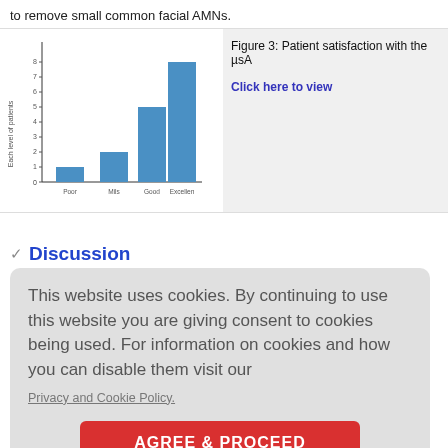to remove small common facial AMNs.
[Figure (bar-chart): Figure 3: Patient satisfaction with the µSA...]
Figure 3: Patient satisfaction with the µSA
Click here to view
Discussion
This website uses cookies. By continuing to use this website you are giving consent to cookies being used. For information on cookies and how you can disable them visit our
Privacy and Cookie Policy.
AGREE & PROCEED